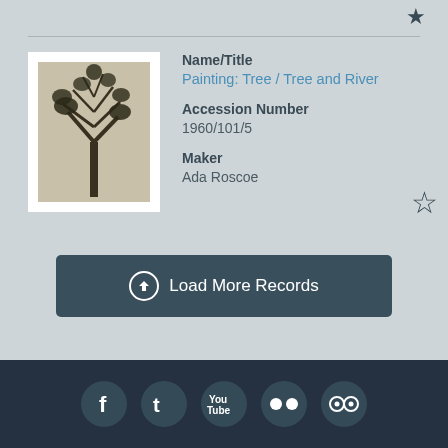[Figure (photo): Thumbnail photo of a painting showing a tree and river, dark tones on light background]
Name/Title
Painting: Tree / Tree and River
Accession Number
1960/101/5
Maker
Ada Roscoe
Load More Records
Social media icons: Facebook, Twitter, YouTube, Flickr, TripAdvisor